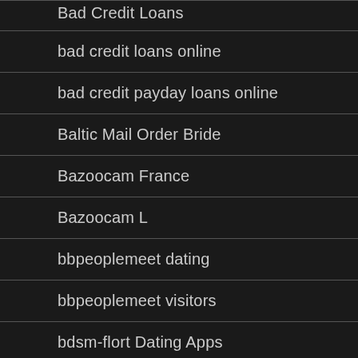Bad Credit Loans
bad credit loans online
bad credit payday loans online
Baltic Mail Order Bride
Bazoocam France
Bazoocam L
bbpeoplemeet dating
bbpeoplemeet visitors
bdsm-flort Dating Apps
Be Naughty App Review
Beautiful Brides
Beautiful Brides And Wi…